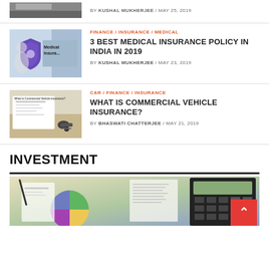BY KUSHAL MUKHERJEE / MAY 25, 2019
[Figure (photo): Medical insurance shield logo with person holding it, blue background]
FINANCE / INSURANCE / MEDICAL
3 BEST MEDICAL INSURANCE POLICY IN INDIA IN 2019
BY KUSHAL MUKHERJEE / MAY 23, 2019
[Figure (photo): Commercial vehicle insurance document with car keys on table]
CAR / FINANCE / INSURANCE
WHAT IS COMMERCIAL VEHICLE INSURANCE?
BY BHASWATI CHATTERJEE / MAY 21, 2019
INVESTMENT
[Figure (photo): Investment concept photo with pie chart, documents and calculator]